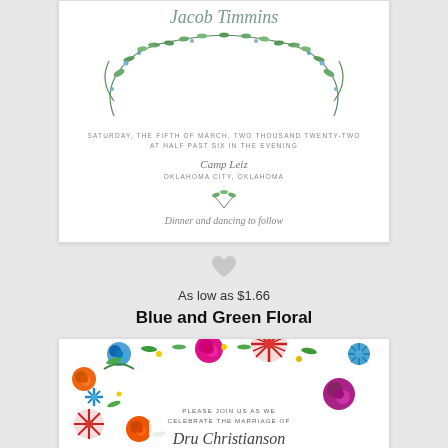[Figure (illustration): Wedding invitation card with blue and green floral wreath watercolor design. Top portion shows script name 'Jacob Timmins', date text 'SATURDAY, THE FIFTH OF MARCH, TWO THOUSAND TWENTY-TWO AT HALF PAST SIX IN THE EVENING', venue 'Camp Leiz', city 'OKLAHOMA CITY, OKLAHOMA', a small sprig illustration, and script text 'Dinner and dancing to follow'.]
[Figure (illustration): Small gray heart icon used as a separator between the two product cards.]
As low as $1.66
Blue and Green Floral
[Figure (illustration): Wedding invitation card with colorful watercolor floral border featuring red, pink, orange, blue, and purple flowers with green leaves. Text reads 'PLEASE JOIN US AS WE CELEBRATE THE MARRIAGE OF' and script 'Dru Christianson'.]